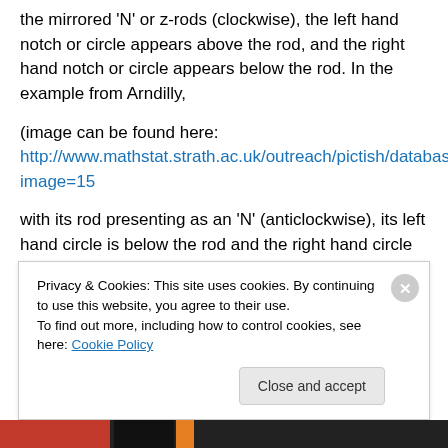the mirrored 'N' or z-rods (clockwise), the left hand notch or circle appears above the rod, and the right hand notch or circle appears below the rod. In the example from Arndilly,
(image can be found here: http://www.mathstat.strath.ac.uk/outreach/pictish/database.php?image=15
with its rod presenting as an 'N' (anticlockwise), its left hand circle is below the rod and the right hand circle above the rod – in other words the circles could support
Privacy & Cookies: This site uses cookies. By continuing to use this website, you agree to their use.
To find out more, including how to control cookies, see here: Cookie Policy